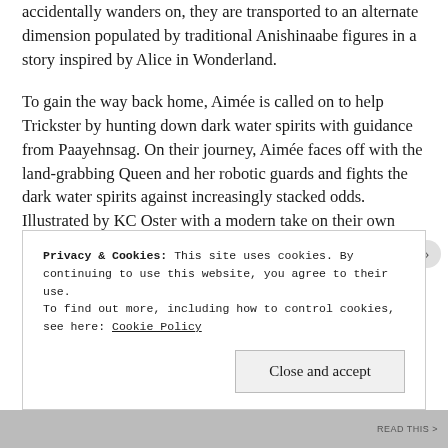accidentally wanders on, they are transported to an alternate dimension populated by traditional Anishinaabe figures in a story inspired by Alice in Wonderland.
To gain the way back home, Aimée is called on to help Trickster by hunting down dark water spirits with guidance from Paayehnsag. On their journey, Aimée faces off with the land-grabbing Queen and her robotic guards and fights the dark water spirits against increasingly stacked odds. Illustrated by KC Oster with a modern take on their own Ojibwe style and cultural representation, Rabbit Chase is a story of self-discovery, community, and finding one's place in the world.
Privacy & Cookies: This site uses cookies. By continuing to use this website, you agree to their use.
To find out more, including how to control cookies, see here: Cookie Policy
Close and accept